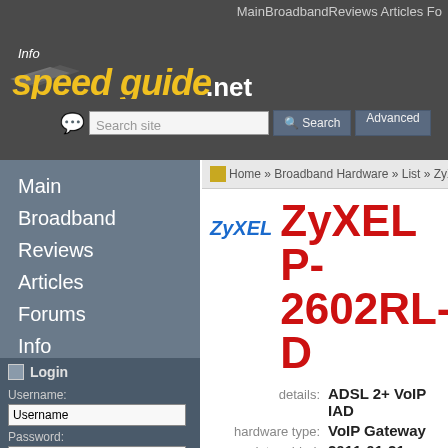Info speedguide.net — Main Broadband Reviews Articles Fo…
Search site
Main
Broadband
Reviews
Articles
Forums
Info
Login
Username:
Password:
Home » Broadband Hardware » List » ZyXEL » P-
ZyXEL P-2602RL-D
details: ADSL 2+ VoIP IAD
hardware type: VoIP Gateway
date added: 2011-01-21
updated: 2013-05-08